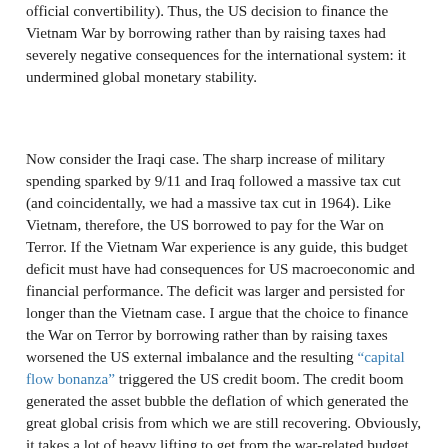official convertibility). Thus, the US decision to finance the Vietnam War by borrowing rather than by raising taxes had severely negative consequences for the international system: it undermined global monetary stability.
Now consider the Iraqi case. The sharp increase of military spending sparked by 9/11 and Iraq followed a massive tax cut (and coincidentally, we had a massive tax cut in 1964). Like Vietnam, therefore, the US borrowed to pay for the War on Terror. If the Vietnam War experience is any guide, this budget deficit must have had consequences for US macroeconomic and financial performance. The deficit was larger and persisted for longer than the Vietnam case. I argue that the choice to finance the War on Terror by borrowing rather than by raising taxes worsened the US external imbalance and the resulting "capital flow bonanza" triggered the US credit boom. The credit boom generated the asset bubble the deflation of which generated the great global crisis from which we are still recovering. Obviously, it takes a lot of heavy lifting to get from the war-related budget deficit to the global financial and economic crisis. (That's why I am writing a book. I will begin posting chapters in the next